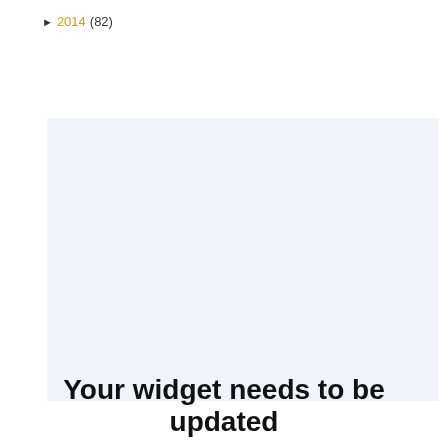► 2014 (82)
[Figure (other): Light blue/grey empty widget placeholder box]
Your widget needs to be updated